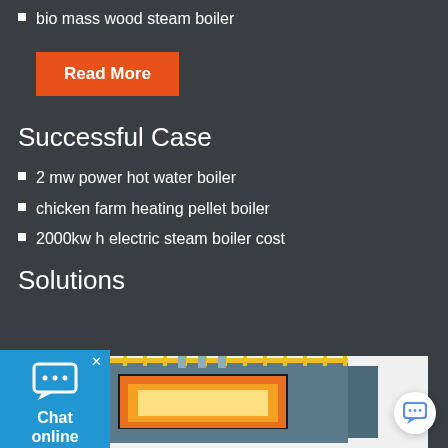bio mass wood steam boiler
Read More
Successful Case
2 mw power hot water boiler
chicken farm heating pellet boiler
2000kw h electric steam boiler cost
Solutions
[Figure (photo): Industrial steam boiler with yellow railings, glowing combustion chamber visible, blue housing, photographed in an industrial setting.]